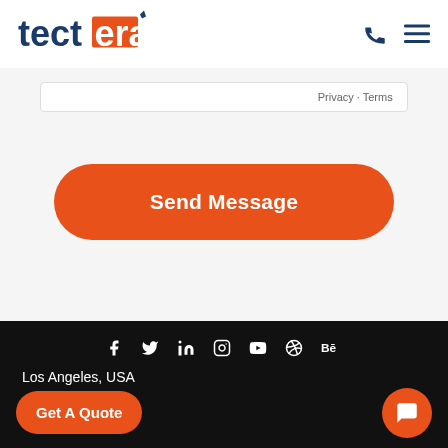[Figure (logo): Tectera logo — blue and orange brand mark with text 'tectera']
Privacy · Terms
Send Message
[Figure (infographic): Social media icons row: Facebook, Twitter, LinkedIn, Instagram, YouTube, Dribbble, Behance — white icons on black background]
Los Angeles, USA
Get A Quote